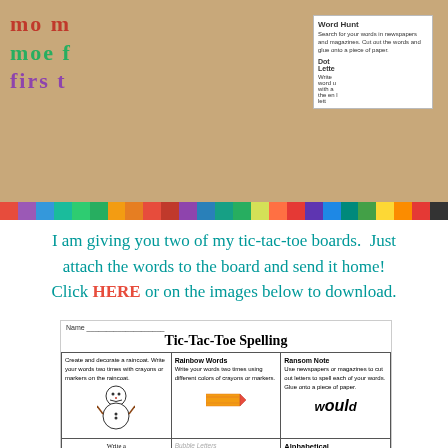[Figure (photo): Photo of student spelling/word work activity with handwritten words visible on paper, with colorful block border along the bottom, and a small worksheet card in the upper right showing 'Word Hunt' and 'Dot Letters' activities.]
I am giving you two of my tic-tac-toe boards. Just attach the words to the board and send it home! Click HERE or on the images below to download.
[Figure (photo): Preview image of a Tic-Tac-Toe Spelling worksheet showing a 3x3 grid with activities: Create and decorate a raincoat, Rainbow Words, Ransom Note (with 'would' example), Write a story using your words, Bubble Letters, Alphabetical Order, Blue, Word Hunt, Dotted.]